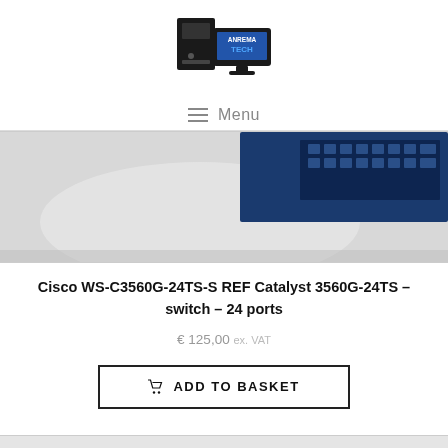[Figure (logo): Anrema Tech logo with computer tower and monitor icons, text 'ANREMA TECH' in black and blue]
Menu
[Figure (photo): Close-up photo of a Cisco network switch showing blue chassis with ethernet ports on a light grey background]
Cisco WS-C3560G-24TS-S REF Catalyst 3560G-24TS – switch – 24 ports
€ 125,00 ex. VAT
ADD TO BASKET